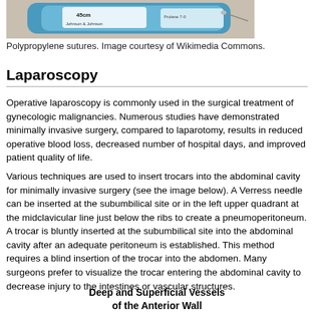[Figure (photo): Photograph of polypropylene suture packaging, blue and white, showing 45cm label, positioned at top of page]
Polypropylene sutures. Image courtesy of Wikimedia Commons.
Laparoscopy
Operative laparoscopy is commonly used in the surgical treatment of gynecologic malignancies. Numerous studies have demonstrated minimally invasive surgery, compared to laparotomy, results in reduced operative blood loss, decreased number of hospital days, and improved patient quality of life.
Various techniques are used to insert trocars into the abdominal cavity for minimally invasive surgery (see the image below). A Verress needle can be inserted at the subumbilical site or in the left upper quadrant at the midclavicular line just below the ribs to create a pneumoperitoneum. A trocar is bluntly inserted at the subumbilical site into the abdominal cavity after an adequate peritoneum is established. This method requires a blind insertion of the trocar into the abdomen. Many surgeons prefer to visualize the trocar entering the abdominal cavity to decrease injury to the intestines or vascular structures.
Deep and Superficial Vessels of the Anterior Wall